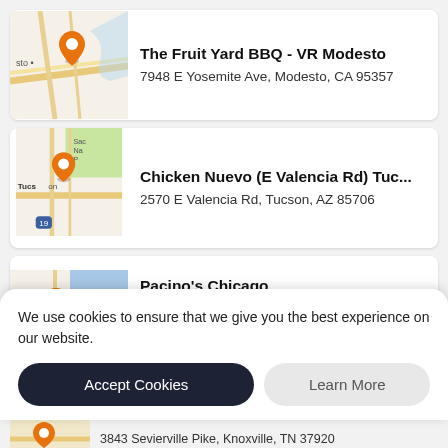[Figure (screenshot): Mobile app screenshot showing a list of restaurant locations with map thumbnails. Includes a cookie consent banner overlaid at the bottom.]
The Fruit Yard BBQ - VR Modesto
7948 E Yosemite Ave, Modesto, CA 95357
Chicken Nuevo (E Valencia Rd) Tuc...
2570 E Valencia Rd, Tucson, AZ 85706
Pacino's Chicago
We use cookies to ensure that we give you the best experience on our website.
Accept Cookies
Learn More
3843 Sevierville Pike, Knoxville, TN 37920